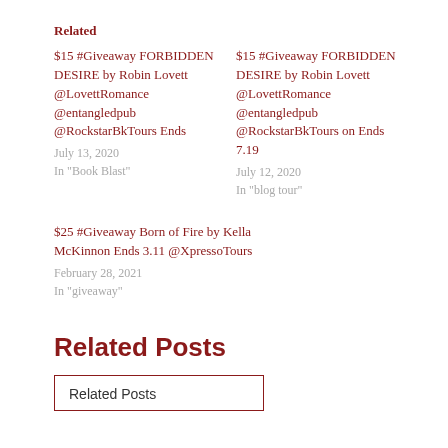Related
$15 #Giveaway FORBIDDEN DESIRE by Robin Lovett @LovettRomance @entangledpub @RockstarBkTours Ends
July 13, 2020
In "Book Blast"
$15 #Giveaway FORBIDDEN DESIRE by Robin Lovett @LovettRomance @entangledpub @RockstarBkTours on Ends 7.19
July 12, 2020
In "blog tour"
$25 #Giveaway Born of Fire by Kella McKinnon Ends 3.11 @XpressoTours
February 28, 2021
In "giveaway"
Related Posts
Related Posts